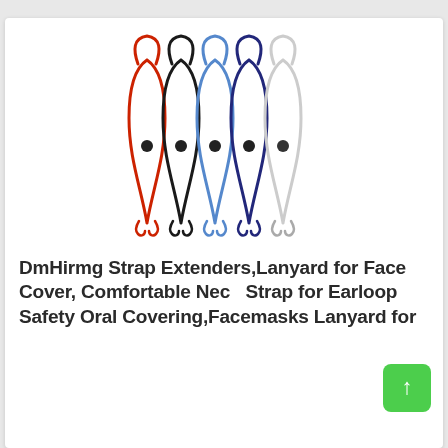[Figure (photo): Five mask lanyards/strap extenders arranged side by side, each forming a loop at the top and ending with small hooks at the bottom, in colors: red, black, light blue, dark blue/navy, and white. A small black adjustment bead is on each lanyard near the middle.]
DmHirmg Strap Extenders,Lanyard for Face Cover, Comfortable Neck Strap for Earloop Safety Oral Covering,Facemasks Lanyard for